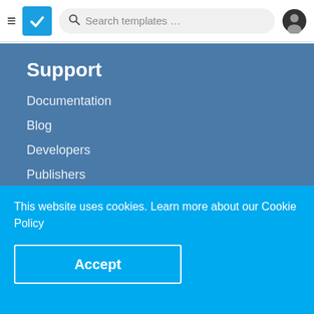Navigation bar with hamburger menu, logo, search templates input, and user account icon
Support
Documentation
Blog
Developers
Publishers
Contact us
This website uses cookies. Learn more about our Cookie Policy
Accept